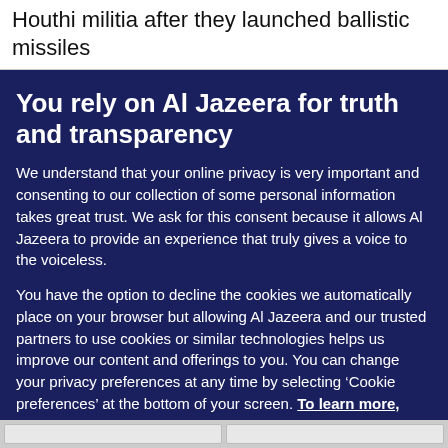Houthi militia after they launched ballistic missiles
You rely on Al Jazeera for truth and transparency
We understand that your online privacy is very important and consenting to our collection of some personal information takes great trust. We ask for this consent because it allows Al Jazeera to provide an experience that truly gives a voice to the voiceless.
You have the option to decline the cookies we automatically place on your browser but allowing Al Jazeera and our trusted partners to use cookies or similar technologies helps us improve our content and offerings to you. You can change your privacy preferences at any time by selecting ‘Cookie preferences’ at the bottom of your screen. To learn more, please view our Cookie Policy.